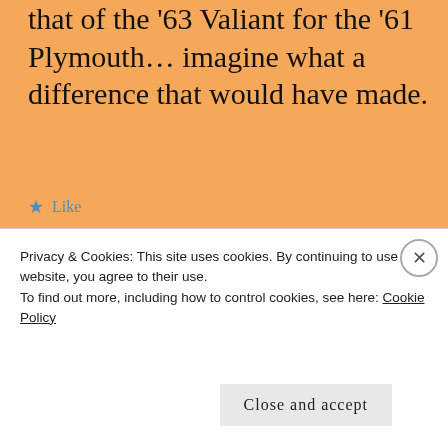that of the '63 Valiant for the '61 Plymouth… imagine what a difference that would have made.
★ Like
Advertisements
[Figure (other): WordPress.com advertisement banner: 'Simplified pricing for everything you need.']
Carblu59
Privacy & Cookies: This site uses cookies. By continuing to use this website, you agree to their use. To find out more, including how to control cookies, see here: Cookie Policy
Close and accept
Follow